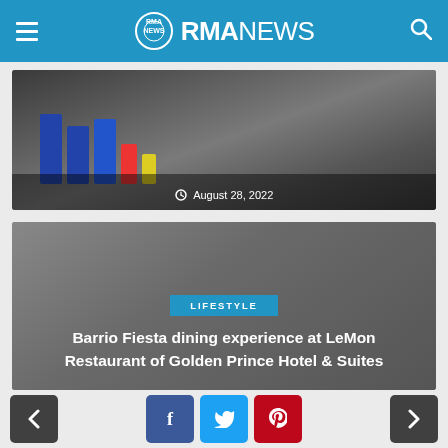RMA NEWS
[Figure (photo): Photo of colorful toy/game pieces on a surface with date overlay showing August 28, 2022]
August 28, 2022
[Figure (photo): Dark gray background card with LIFESTYLE badge and article title about Barrio Fiesta dining experience]
Barrio Fiesta dining experience at LeMon Restaurant of Golden Prince Hotel & Suites